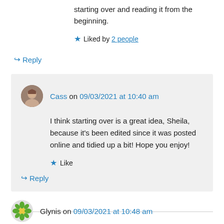starting over and reading it from the beginning.
★ Liked by 2 people
↪ Reply
Cass on 09/03/2021 at 10:40 am
I think starting over is a great idea, Sheila, because it's been edited since it was posted online and tidied up a bit! Hope you enjoy!
★ Like
↪ Reply
Glynis on 09/03/2021 at 10:48 am